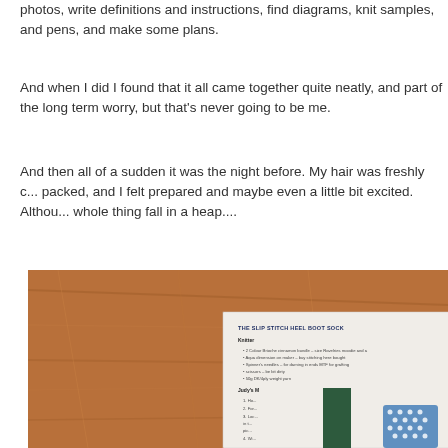photos, write definitions and instructions, find diagrams, knit samples, and pens, and make some plans.
And when I did I found that it all came together quite neatly, and part of the long term worry, but that's never going to be me.
And then all of a sudden it was the night before. My hair was freshly c... packed, and I felt prepared and maybe even a little bit excited. Althou... whole thing fall in a heap....
[Figure (photo): A photo of a wooden table surface with a printed knitting pattern document visible in the lower right area. The document appears to be titled 'THE SLIP STITCH HEEL BOOT SOCK' with sections for 'Knitter' and "Judy's M..." listing materials and instructions. A dark green rectangular object (possibly a book or card) partially covers part of the document, and a small knitted blue/white swatch is visible.]